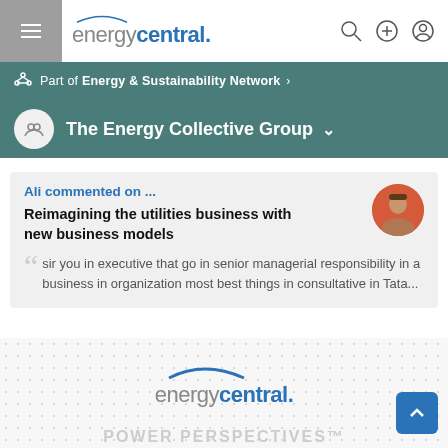energycentral. [navigation bar with hamburger menu, logo, search, plus, and user icons]
Part of Energy & Sustainability Network »
The Energy Collective Group
Ali commented on ...
Reimagining the utilities business with new business models
"sir you in executive that go in senior managerial responsibility in a business in organization most best things in consultative in Tata...
[Figure (logo): Energy Central logo at bottom of page]
POWER PERSPECTIVES™